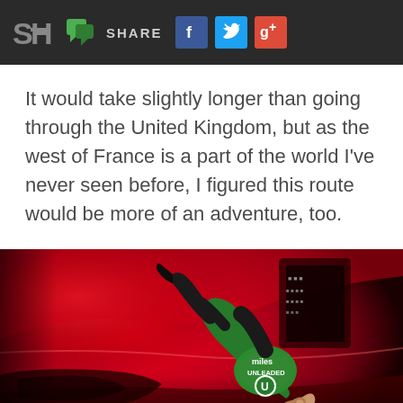SH | SHARE [Facebook] [Twitter] [Google+]
It would take slightly longer than going through the United Kingdom, but as the west of France is a part of the world I've never seen before, I figured this route would be more of an adventure, too.
[Figure (photo): Close-up photograph of a green fuel pump nozzle labeled 'miles UNLEADED' with a U symbol, inserted into a red car's fuel tank opening. A hand is holding the nozzle. The car body is bright red and shiny.]